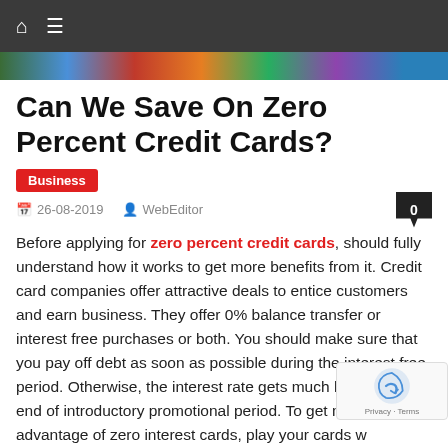Navigation bar with home and menu icons
[Figure (illustration): Colorful banner strip with multi-colored segments]
Can We Save On Zero Percent Credit Cards?
Business
26-08-2019  WebEditor  0
Before applying for zero percent credit cards, should fully understand how it works to get more benefits from it. Credit card companies offer attractive deals to entice customers and earn business. They offer 0% balance transfer or interest free purchases or both. You should make sure that you pay off debt as soon as possible during the interest free period. Otherwise, the interest rate gets much higher at the end of introductory promotional period. To get more advantage of zero interest cards, play your cards w
There are two offers which customers can utilize in their favor. Zero